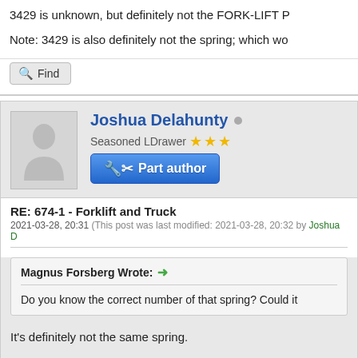3429 is unknown, but definitely not the FORK-LIFT P
Note: 3429 is also definitely not the spring; which wo
Find
Joshua Delahunty
Seasoned LDrawer ★★★
Part author
RE: 674-1 - Forklift and Truck
2021-03-28, 20:31 (This post was last modified: 2021-03-28, 20:32 by Joshua D
Magnus Forsberg Wrote:
Do you know the correct number of that spring? Could it
It's definitely not the same spring.
70181 is from 1983 (for the newer, larger 73367 FORK-LIF